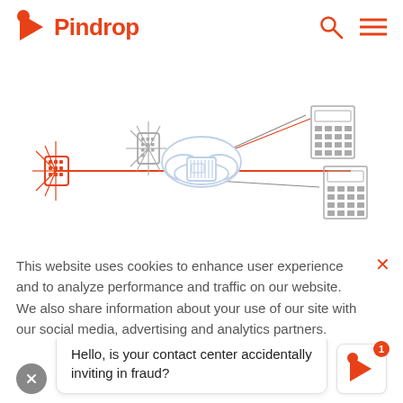[Figure (logo): Pindrop logo with orange play-button icon and orange Pindrop text, plus search and hamburger menu icons on the right]
[Figure (infographic): Network diagram showing connected devices (smartphones, cloud with processor, and calculator/terminal devices) linked by orange and gray lines representing data flow]
This website uses cookies to enhance user experience and to analyze performance and traffic on our website. We also share information about your use of our site with our social media, advertising and analytics partners.
Do Not Sell My Personal Information
Hello, is your contact center accidentally inviting in fraud?